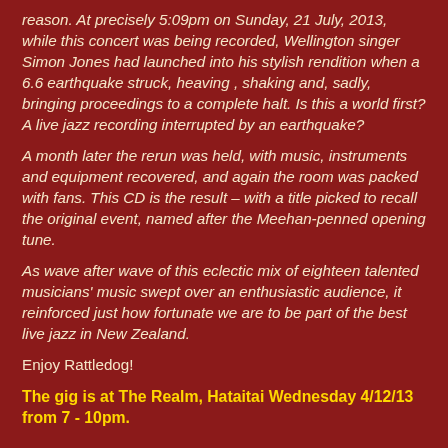reason. At precisely 5:09pm on Sunday, 21 July, 2013, while this concert was being recorded, Wellington singer Simon Jones had launched into his stylish rendition when a 6.6 earthquake struck, heaving , shaking and, sadly, bringing proceedings to a complete halt. Is this a world first? A live jazz recording interrupted by an earthquake?
A month later the rerun was held, with music, instruments and equipment recovered, and again the room was packed with fans. This CD is the result – with a title picked to recall the original event, named after the Meehan-penned opening tune.
As wave after wave of this eclectic mix of eighteen talented musicians' music swept over an enthusiastic audience, it reinforced just how fortunate we are to be part of the best live jazz in New Zealand.
Enjoy Rattledog!
The gig is at The Realm, Hataitai Wednesday 4/12/13 from 7 - 10pm.